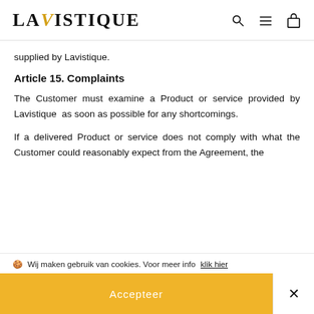LAVISTIQUE
supplied by Lavistique.
Article 15. Complaints
The Customer must examine a Product or service provided by Lavistique as soon as possible for any shortcomings.
If a delivered Product or service does not comply with what the Customer could reasonably expect from the Agreement, the
🍪 Wij maken gebruik van cookies. Voor meer info klik hier
Accepteer